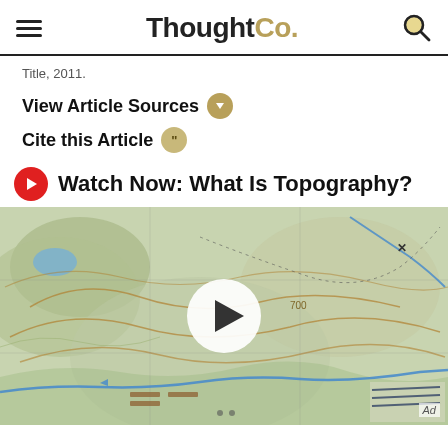ThoughtCo.
Title, 2011.
View Article Sources
Cite this Article
Watch Now: What Is Topography?
[Figure (screenshot): Topographic map screenshot with play button overlay and Ad badge in corner]